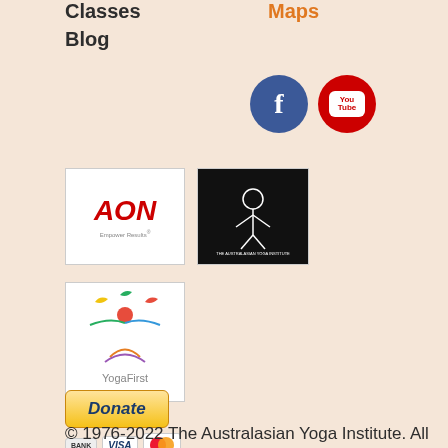Classes
Maps
Blog
[Figure (logo): Facebook and YouTube social media icons]
[Figure (logo): AON Empower Results logo in white box]
[Figure (logo): The Australasian Yoga Institute logo in black box]
[Figure (logo): YogaFirst logo in white box]
[Figure (other): Pay Via PayPal orange button]
[Figure (other): Donate button with Bank, Visa, Mastercard logos]
© 1976-2022 The Australasian Yoga Institute. All